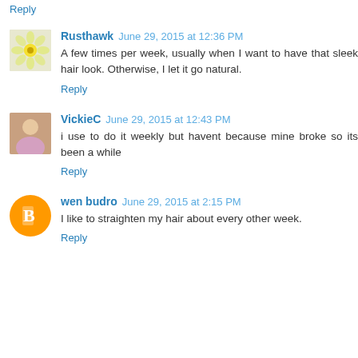Reply
Rusthawk  June 29, 2015 at 12:36 PM
A few times per week, usually when I want to have that sleek hair look. Otherwise, I let it go natural.
Reply
VickieC  June 29, 2015 at 12:43 PM
i use to do it weekly but havent because mine broke so its been a while
Reply
wen budro  June 29, 2015 at 2:15 PM
I like to straighten my hair about every other week.
Reply